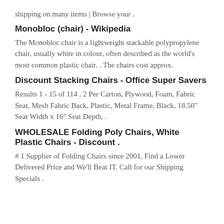shipping on many items | Browse your .
Monobloc (chair) - Wikipedia
The Monobloc chair is a lightweight stackable polypropylene chair, usually white in colour, often described as the world's most common plastic chair. . The chairs cost approx.
Discount Stacking Chairs - Office Super Savers
Results 1 - 15 of 114 . 2 Per Carton, Plywood, Foam, Fabric Seat, Mesh Fabric Back, Plastic, Metal Frame, Black, 18.50" Seat Width x 16" Seat Depth, .
WHOLESALE Folding Poly Chairs, White Plastic Chairs - Discount .
# 1 Supplier of Folding Chairs since 2001. Find a Lower Delivered Price and We'll Beat IT. Call for our Shipping Specials .